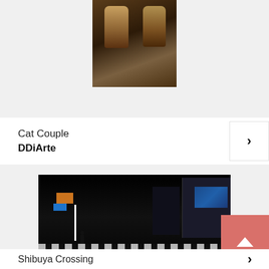[Figure (photo): Partial view of a painting or photo showing two robed figures, dark background – Cat Couple artwork by DDiArte]
Cat Couple
DDiArte
[Figure (photo): Night scene of Shibuya Crossing in Tokyo, with illuminated buildings, neon signs, and crowds crossing the famous intersection]
Shibuya Crossing